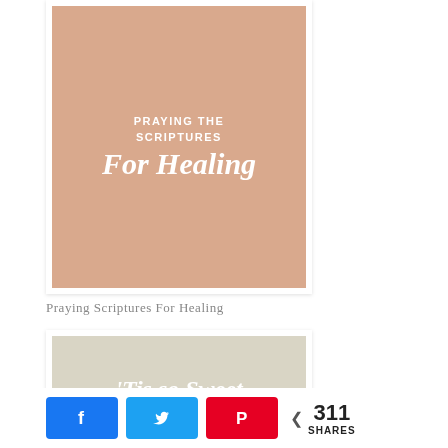[Figure (illustration): A Pinterest-style card image with a salmon/peach background showing text 'PRAYING THE SCRIPTURES For Healing' in white, with a white frame border.]
Praying Scriptures For Healing
[Figure (illustration): A Pinterest-style card image with a light beige/tan background showing text "'Tis so Sweet TO TRUST IN JESUS" in white, with a white frame border.]
k  t  A  < 311 SHARES